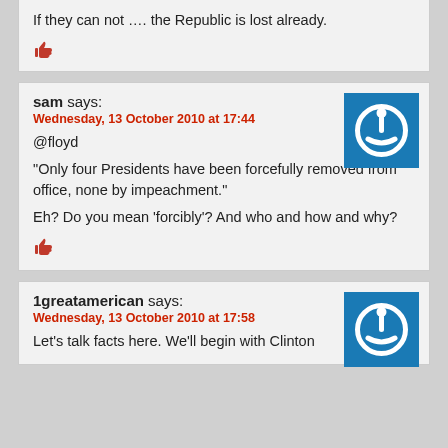If they can not …. the Republic is lost already.
sam says:
Wednesday, 13 October 2010 at 17:44
@floyd
“Only four Presidents have been forcefully removed from office, none by impeachment.”
Eh? Do you mean ‘forcibly’? And who and how and why?
1greatamerican says:
Wednesday, 13 October 2010 at 17:58
Let’s talk facts here. We’ll begin with Clinton